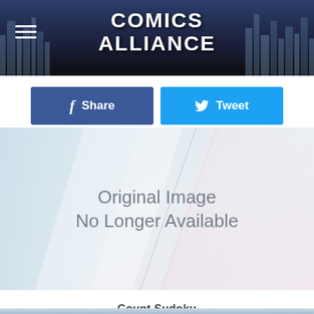Comics Alliance
Share
Tweet
[Figure (illustration): Placeholder image with text 'Original Image No Longer Available' over a light geometric abstract background with blue and pink tones]
Count Sudoku